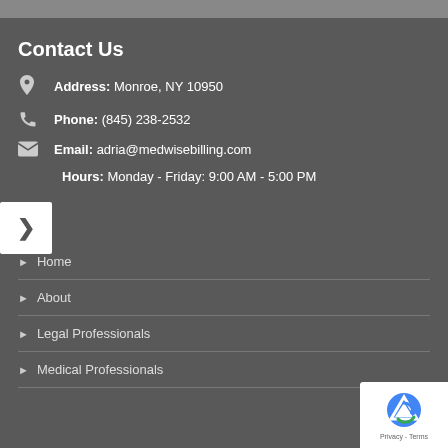Contact Us
Address: Monroe, NY 10950
Phone: (845) 238-2532
Email: adria@medwisebilling.com
Hours: Monday - Friday: 9:00 AM - 5:00 PM
Home
About
Legal Professionals
Medical Professionals